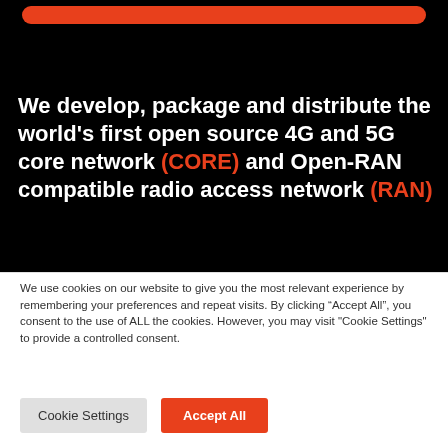[Figure (screenshot): Orange rounded bar at top of black background section]
We develop, package and distribute the world's first open source 4G and 5G core network (CORE) and Open-RAN compatible radio access network (RAN)
We use cookies on our website to give you the most relevant experience by remembering your preferences and repeat visits. By clicking “Accept All”, you consent to the use of ALL the cookies. However, you may visit "Cookie Settings" to provide a controlled consent.
Cookie Settings
Accept All